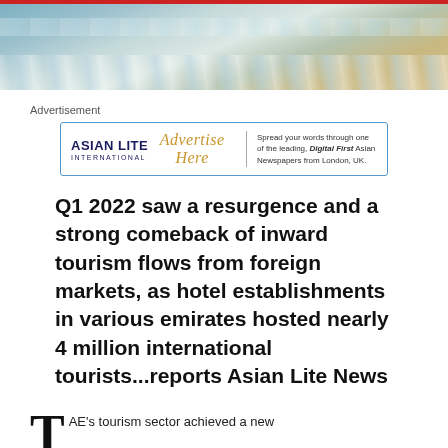[Figure (photo): Aerial view of ocean waves and sandy coastline]
Advertisement
[Figure (logo): Asian Lite International advertisement banner with 'Advertise Here' text and tagline: Spread your words through one of the leading, Digital First Asian Newspapers from London, UK.]
Q1 2022 saw a resurgence and a strong comeback of inward tourism flows from foreign markets, as hotel establishments in various emirates hosted nearly 4 million international tourists...reports Asian Lite News
AE's tourism sector achieved a new